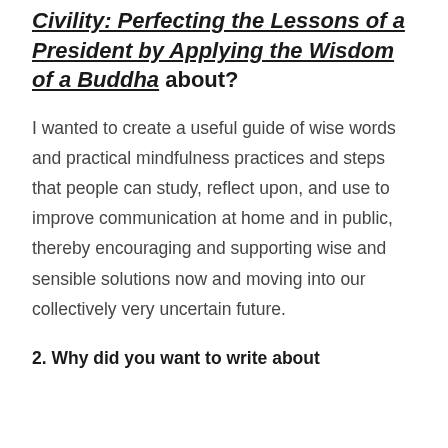Civility: Perfecting the Lessons of a President by Applying the Wisdom of a Buddha about?
I wanted to create a useful guide of wise words and practical mindfulness practices and steps that people can study, reflect upon, and use to improve communication at home and in public, thereby encouraging and supporting wise and sensible solutions now and moving into our collectively very uncertain future.
2. Why did you want to write about